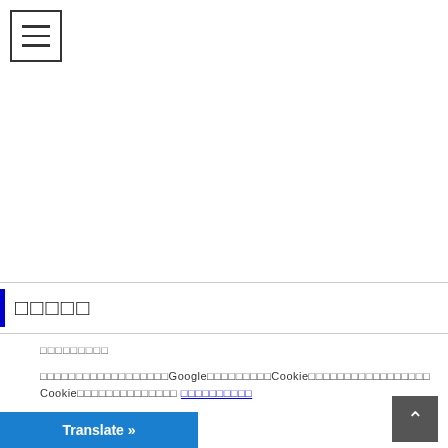[Figure (other): Hamburger menu icon button (three horizontal lines in a square border)]
□□□□□
□□□□□□□□□
□□□□□□□□□□□□□□□□□□Google□□□□□□□□□Cookie□□□□□□□□□□□□□□□□□ Cookie□□□□□□□□□□□□□□ □□□□□□□□□□
Cookie settings  □□□□